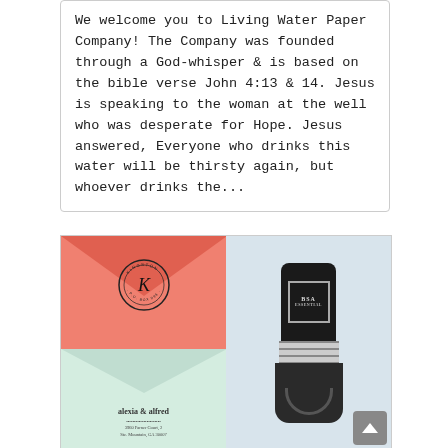We welcome you to Living Water Paper Company! The Company was founded through a God-whisper & is based on the bible verse John 4:13 & 14. Jesus is speaking to the woman at the well who was desperate for Hope. Jesus answered, Everyone who drinks this water will be thirsty again, but whoever drinks the...
[Figure (photo): Two-panel product photo. Left panel: a salmon/coral pink envelope with a round monogram stamp featuring a decorative letter K and circular text around it. Below is a light green envelope with handwritten-style text reading 'alexia & alfred' with an address. Right panel: a close-up of a black self-inking rubber stamp device with a square label showing 'BSA' in bold serif text.]